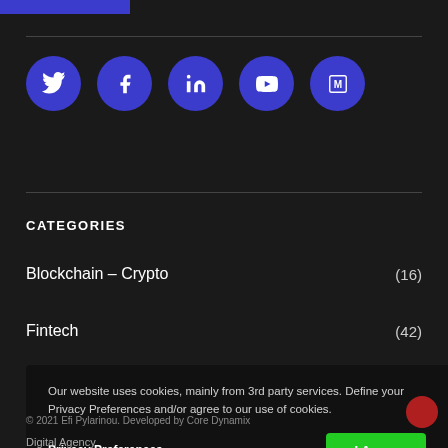[Figure (other): Blue rectangular bar at top of page (partial navigation element)]
[Figure (infographic): Five social media icon circles (Twitter, Facebook, LinkedIn, YouTube, Medium) in dark blue/indigo color]
CATEGORIES
Blockchain – Crypto (16)
Fintech (42)
Our website uses cookies, mainly from 3rd party services. Define your Privacy Preferences and/or agree to our use of cookies.
Privacy Preferences
I Agree
© 2021  Efi Pylarinou. Developed by Core Dynamix
Digital Agency